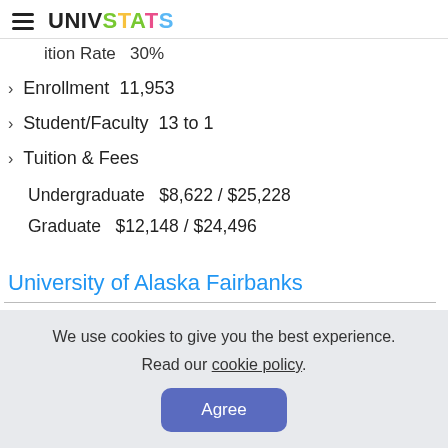UNIVSTATS
ition Rate   30%
Enrollment   11,953
Student/Faculty   13 to 1
Tuition & Fees
Undergraduate   $8,622 / $25,228
Graduate   $12,148 / $24,496
University of Alaska Fairbanks
We use cookies to give you the best experience. Read our cookie policy.